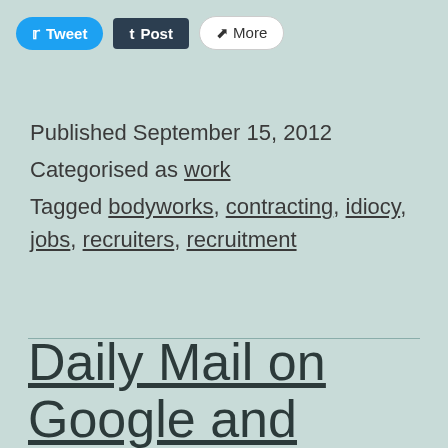[Figure (other): Social sharing buttons: Tweet (Twitter), Post (Tumblr), More]
Published September 15, 2012
Categorised as work
Tagged bodyworks, contracting, idiocy, jobs, recruiters, recruitment
Daily Mail on Google and